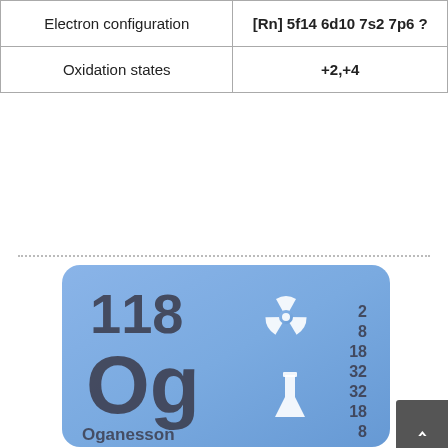|  |  |
| --- | --- |
| Electron configuration | [Rn] 5f14 6d10 7s2 7p6 ? |
| Oxidation states | +2,+4 |
[Figure (illustration): Periodic table element card for Oganesson (Og), element 118, showing atomic number 118, symbol Og, name Oganesson, electron shell configuration 2,8,18,32,32,18,8 on right side, radioactive symbol and laboratory flask icon, on a blue gradient rounded rectangle background.]